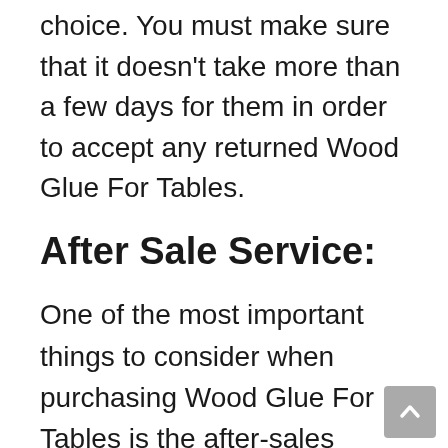choice. You must make sure that it doesn't take more than a few days for them in order to accept any returned Wood Glue For Tables.
After Sale Service:
One of the most important things to consider when purchasing Wood Glue For Tables is the after-sales service. In reality, many companies offer poor after sales services or are unable to respond to your email and calls. Choose a company that provides efficient after sales services to make sure you make the most of your